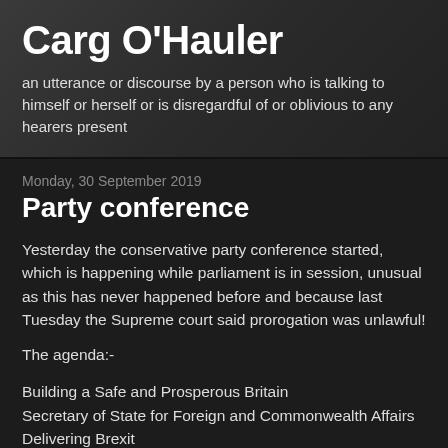Carg O'Hauler
an utterance or discourse by a person who is talking to himself or herself or is disregardful of or oblivious to any hearers present
Monday, 30 September 2019
Party conference
Yesterday the conservative party conference started, which is happening while parliament is in session, unusual as this has never happened before and because last Tuesday the Supreme court said prorogation was unlawful!
The agenda:-
Building a Safe and Prosperous Britain
Secretary of State for Foreign and Commonwealth Affairs
Delivering Brexit